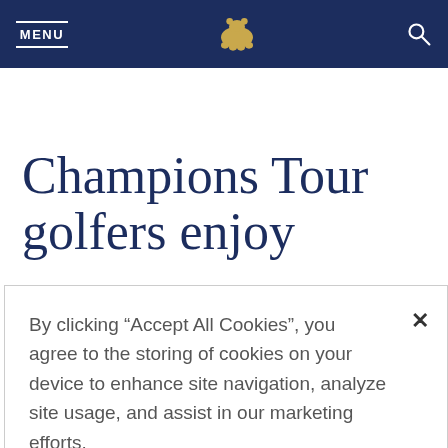MENU | [bear logo] | [search icon]
Champions Tour golfers enjoy
By clicking “Accept All Cookies”, you agree to the storing of cookies on your device to enhance site navigation, analyze site usage, and assist in our marketing efforts.